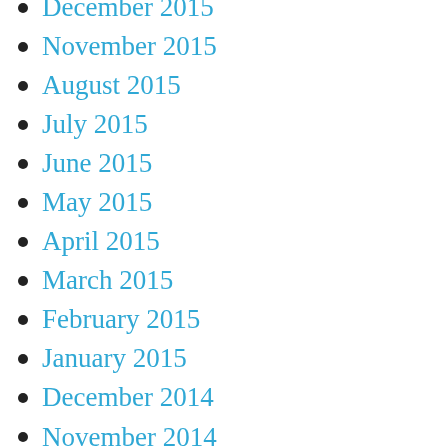December 2015
November 2015
August 2015
July 2015
June 2015
May 2015
April 2015
March 2015
February 2015
January 2015
December 2014
November 2014
September 2014
June 2014
May 2014
April 2014
March 2014